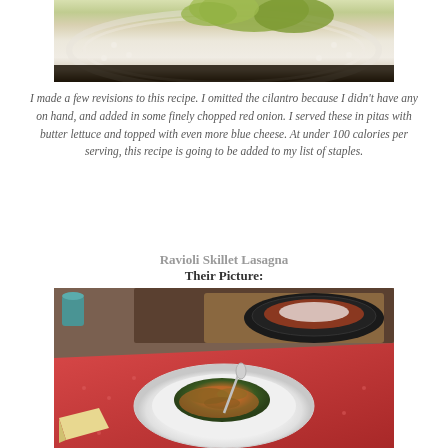[Figure (photo): Close-up photo of a white plate with butter lettuce on it, partially cropped at top]
I made a few revisions to this recipe. I omitted the cilantro because I didn't have any on hand, and added in some finely chopped red onion.  I served these in pitas with butter lettuce and topped with even more blue cheese.  At under 100 calories per serving, this recipe is going to be added to my list of staples.
Ravioli Skillet Lasagna
Their Picture:
[Figure (photo): Photo of a skillet lasagna dish served in a white bowl on a red patterned cloth, with a cast iron skillet visible in the background on a wooden board]